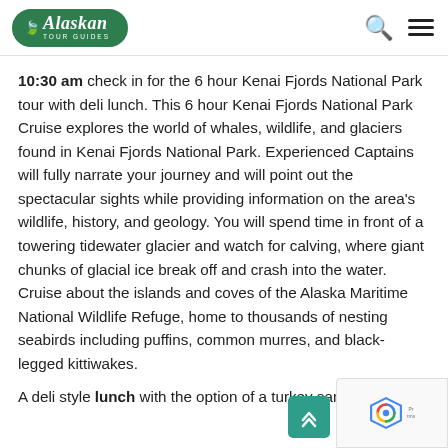Alaskan Tour Guides
10:30 am check in for the 6 hour Kenai Fjords National Park tour with deli lunch. This 6 hour Kenai Fjords National Park Cruise explores the world of whales, wildlife, and glaciers found in Kenai Fjords National Park. Experienced Captains will fully narrate your journey and will point out the spectacular sights while providing information on the area's wildlife, history, and geology. You will spend time in front of a towering tidewater glacier and watch for calving, where giant chunks of glacial ice break off and crash into the water. Cruise about the islands and coves of the Alaska Maritime National Wildlife Refuge, home to thousands of nesting seabirds including puffins, common murres, and black-legged kittiwakes.

A deli style lunch with the option of a turkey sandwi...